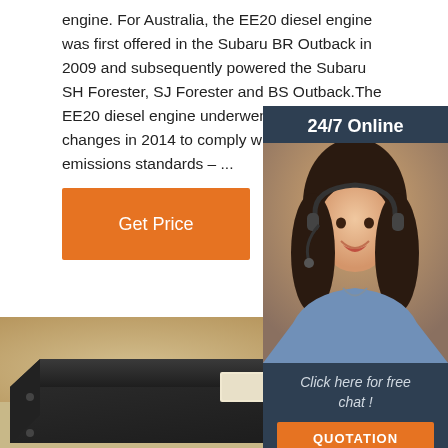engine. For Australia, the EE20 diesel engine was first offered in the Subaru BR Outback in 2009 and subsequently powered the Subaru SH Forester, SJ Forester and BS Outback.The EE20 diesel engine underwent substantial changes in 2014 to comply with Euro 6 emissions standards – ...
[Figure (other): Orange 'Get Price' button]
[Figure (other): 24/7 Online chat widget with photo of woman wearing headset, 'Click here for free chat!' text, and orange QUOTATION button]
[Figure (photo): Black electronic device/box with connectors and display, on a light-colored surface]